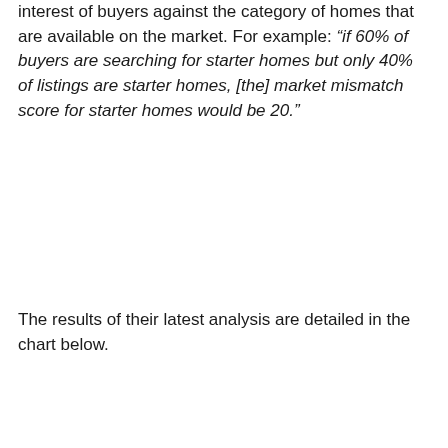interest of buyers against the category of homes that are available on the market. For example: “if 60% of buyers are searching for starter homes but only 40% of listings are starter homes, [the] market mismatch score for starter homes would be 20.”
The results of their latest analysis are detailed in the chart below.